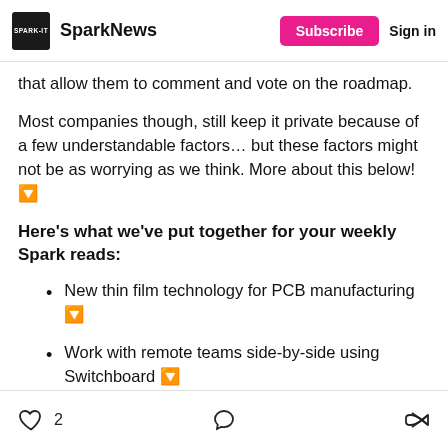SparkNews — Subscribe | Sign in
that allow them to comment and vote on the roadmap.
Most companies though, still keep it private because of a few understandable factors… but these factors might not be as worrying as we think. More about this below!🔽
Here's what we've put together for your weekly Spark reads:
New thin film technology for PCB manufacturing 🔽
Work with remote teams side-by-side using Switchboard 🔽
2 likes | comment | share